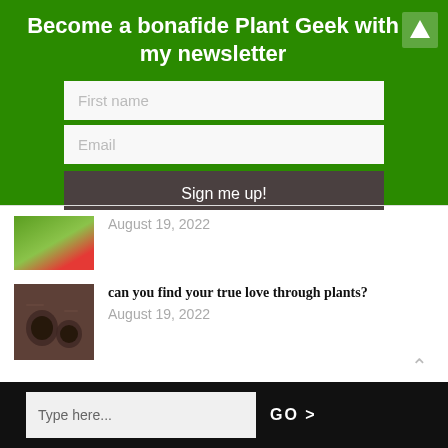Become a bonafide Plant Geek with my newsletter
[Figure (screenshot): First name text input field]
[Figure (screenshot): Email text input field]
[Figure (screenshot): Sign me up! button]
[Figure (photo): Thumbnail image of flowers and plants]
August 19, 2022
[Figure (photo): Thumbnail image of coffee cups and hands on a table]
can you find your true love through plants?
August 19, 2022
Type here...  GO >